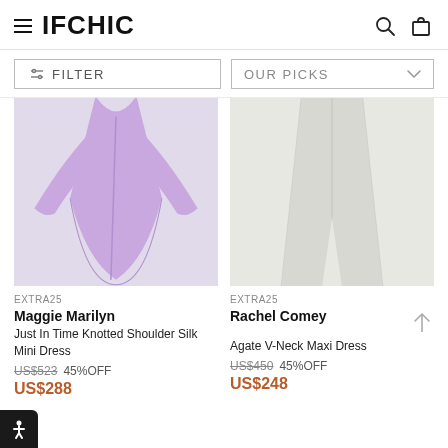IFCHIC
FILTER
OUR PICKS
[Figure (photo): Purple/lavender silk mini dress with long flared sleeves and knotted shoulder detail, shown on a light gray background]
EXTRA25
Maggie Marilyn
Just In Time Knotted Shoulder Silk Mini Dress
US$523  45%OFF
US$288
[Figure (photo): White/off-white wide-leg maxi dress or trousers, shown on a light gray background]
EXTRA25
Rachel Comey
Agate V-Neck Maxi Dress
US$450  45%OFF
US$248